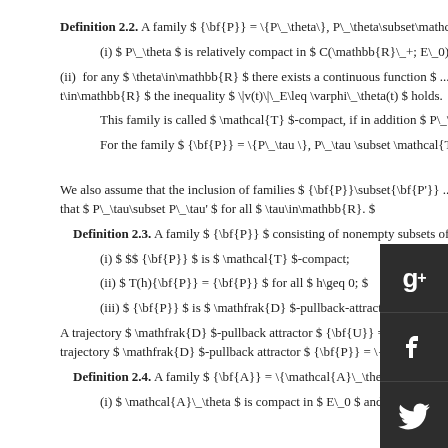Definition 2.2. A family $ {\bf{P}} = \{P_\theta\}, P_\theta\subset\mathcal{T} $...
(i) $ P_\theta $ is relatively compact in $ C(\mathbb{R}_+; E_0) $ for any $ \...
(ii) for any $ \theta\in\mathbb{R} $ there exists a continuous function $ ... t\in\mathbb{R} $ the inequality $ \|v(t)\|_E\leq \varphi_\theta(t) $ holds.
This family is called $ \mathcal{T} $-compact, if in addition $ P_\theta $ is cl...
For the family $ {\bf{P}} = \{P_\tau \}, P_\tau \subset \mathcal{T}, $ and for $...
We also assume that the inclusion of families $ {\bf{P}}\subset{\bf{P'}} ... that $ P_\tau\subset P_\tau' $ for all $ \tau\in\mathbb{R}. $
Definition 2.3. A family $ {\bf{P}} $ consisting of nonempty subsets of...
(i) $ $$ {\bf{P}} $ is $ \mathcal{T} $-compact;
(ii) $ T(h){\bf{P}} = {\bf{P}} $ for all $ h\geq 0; $
(iii) $ {\bf{P}} $ is $ \mathfrak{D} $-pullback-attracting.
A trajectory $ \mathfrak{D} $-pullback attractor $ {\bf{U}} = \{\mathcal{U}_\... trajectory $ \mathfrak{D} $-pullback attractor $ {\bf{P}} = \{P_\theta\}. $
Definition 2.4. A family $ {\bf{A}} = \{\mathcal{A}_\theta\subset E\} $ is called...
(i) $ \mathcal{A}_\theta $ is compact in $ E_0 $ and bounded in $ E $ for all...